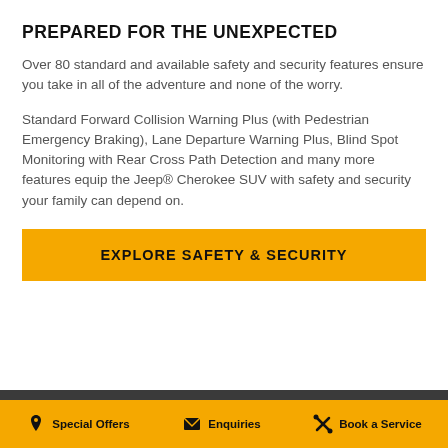PREPARED FOR THE UNEXPECTED
Over 80 standard and available safety and security features ensure you take in all of the adventure and none of the worry.
Standard Forward Collision Warning Plus (with Pedestrian Emergency Braking), Lane Departure Warning Plus, Blind Spot Monitoring with Rear Cross Path Detection and many more features equip the Jeep® Cherokee SUV with safety and security your family can depend on.
EXPLORE SAFETY & SECURITY
Special Offers   Enquiries   Book a Service